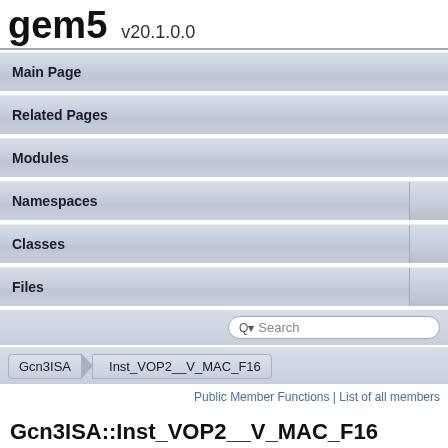gem5 v20.1.0.0
Main Page
Related Pages
Modules
Namespaces
Classes
Files
Search
Gcn3ISA > Inst_VOP2__V_MAC_F16
Public Member Functions | List of all members
Gcn3ISA::Inst_VOP2__V_MAC_F16 Class Reference